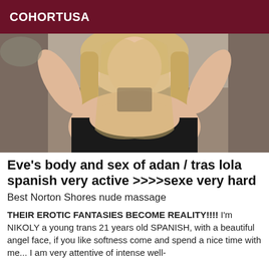COHORTUSA
[Figure (photo): A blonde woman in a black top taking a selfie]
Eve's body and sex of adan / tras lola spanish very active >>>>sexe very hard
Best Norton Shores nude massage
THEIR EROTIC FANTASIES BECOME REALITY!!!! I'm NIKOLY a young trans 21 years old SPANISH, with a beautiful angel face, if you like softness come and spend a nice time with me... I am very attentive of intense well-